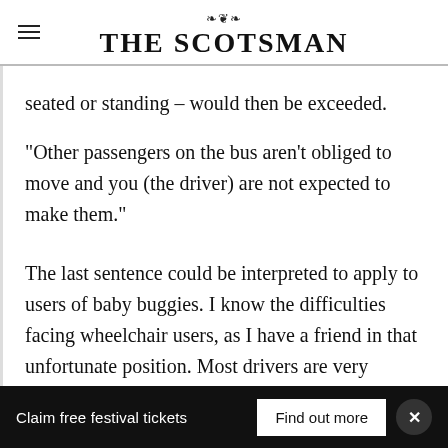THE SCOTSMAN
seated or standing – would then be exceeded.
“Other passengers on the bus aren’t obliged to move and you (the driver) are not expected to make them.”
The last sentence could be interpreted to apply to users of baby buggies. I know the difficulties facing wheelchair users, as I have a friend in that unfortunate position. Most drivers are very helpful, but there have been
Claim free festival tickets  Find out more  ×